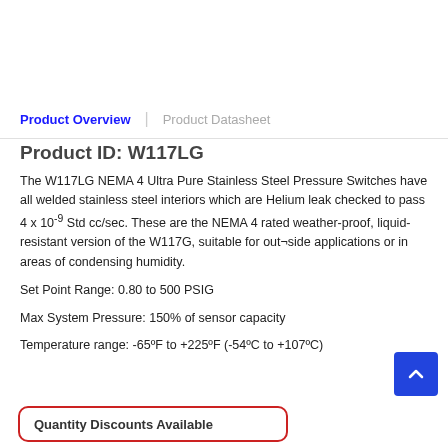Product Overview | Product Datasheet
Product ID: W117LG
The W117LG NEMA 4 Ultra Pure Stainless Steel Pressure Switches have all welded stainless steel interiors which are Helium leak checked to pass 4 x 10-9 Std cc/sec. These are the NEMA 4 rated weather-proof, liquid-resistant version of the W117G, suitable for out¬side applications or in areas of condensing humidity.
Set Point Range: 0.80 to 500 PSIG
Max System Pressure: 150% of sensor capacity
Temperature range: -65ºF to +225ºF (-54ºC to +107ºC)
Quantity Discounts Available